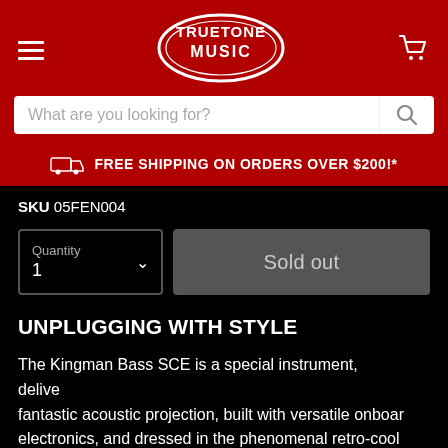[Figure (logo): Truetone Music oval logo in white on red background]
What are you looking for?
FREE SHIPPING ON ORDERS OVER $200!*
SKU 05FEN004
Quantity 1
Sold out
UNPLUGGING WITH STYLE
The Kingman Bass SCE is a special instrument, delivering fantastic acoustic projection, built with versatile onboard electronics, and dressed in the phenomenal retro-cool style of Fender's California Series. More than just a pretty bass, it also